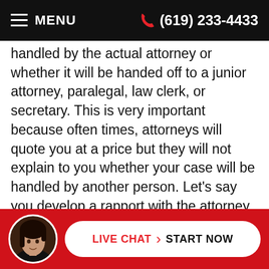≡ MENU   ☎ (619) 233-4433
handled by the actual attorney or whether it will be handed off to a junior attorney, paralegal, law clerk, or secretary. This is very important because often times, attorneys will quote you at a price but they will not explain to you whether your case will be handled by another person. Let's say you develop a rapport with the attorney and you hired that attorney because you wanted him/her to take your case. A couple months later, you come to realize that the attorney that you hired to represent you is not dealing with your case at all. Instead, it's being handled by a law clerk or a junior attorney. The problem arises when you thought you were paying...
LIVE CHAT › START NOW